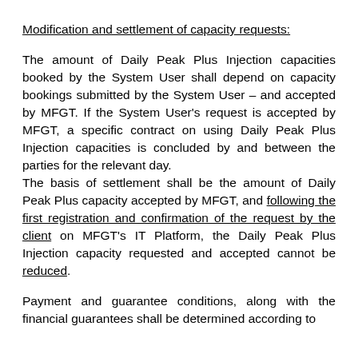Modification and settlement of capacity requests:
The amount of Daily Peak Plus Injection capacities booked by the System User shall depend on capacity bookings submitted by the System User – and accepted by MFGT. If the System User's request is accepted by MFGT, a specific contract on using Daily Peak Plus Injection capacities is concluded by and between the parties for the relevant day.
The basis of settlement shall be the amount of Daily Peak Plus capacity accepted by MFGT, and following the first registration and confirmation of the request by the client on MFGT's IT Platform, the Daily Peak Plus Injection capacity requested and accepted cannot be reduced.
Payment and guarantee conditions, along with the financial guarantees shall be determined according to